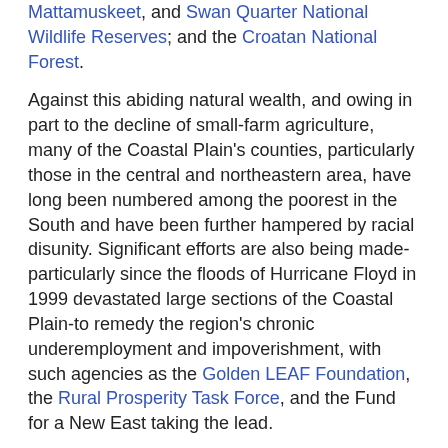Mattamuskeet, and Swan Quarter National Wildlife Reserves; and the Croatan National Forest.
Against this abiding natural wealth, and owing in part to the decline of small-farm agriculture, many of the Coastal Plain's counties, particularly those in the central and northeastern area, have long been numbered among the poorest in the South and have been further hampered by racial disunity. Significant efforts are also being made-particularly since the floods of Hurricane Floyd in 1999 devastated large sections of the Coastal Plain-to remedy the region's chronic underemployment and impoverishment, with such agencies as the Golden LEAF Foundation, the Rural Prosperity Task Force, and the Fund for a New East taking the lead.
The Sandhills region in the southwest corner of North Carolina's Coastal Plain includes parts of Cumberland, Harnett, Hoke, Lee, Montgomery, Moore, Richmond, and Scotland Counties. The state's peach-growing industry is concentrated in the Sandhills, and cotton and tobacco are also important crops. The region is one of fairly small cities and towns, with Fayetteville in Cumberland County being by far the largest. Each county in the